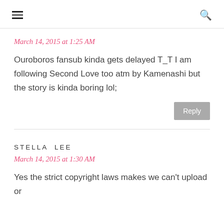☰  🔍
March 14, 2015 at 1:25 AM
Ouroboros fansub kinda gets delayed T_T I am following Second Love too atm by Kamenashi but the story is kinda boring lol;
Reply
STELLA LEE
March 14, 2015 at 1:30 AM
Yes the strict copyright laws makes we can't upload or